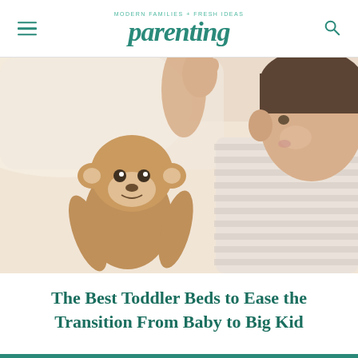MODERN FAMILIES + FRESH IDEAS parenting
[Figure (photo): A toddler sleeping on a bed, hugging a stuffed animal monkey toy. The child is wearing a striped shirt and lying on white bedding.]
The Best Toddler Beds to Ease the Transition From Baby to Big Kid